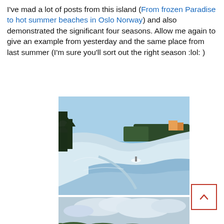I've mad a lot of posts from this island (From frozen Paradise to hot summer beaches in Oslo Norway) and also demonstrated the significant four seasons. Allow me again to give an example from yesterday and the same place from last summer (I'm sure you'll sort out the right season :lol: )
[Figure (photo): Winter scene on an island in Oslo Norway: snow-covered hillside sloping down to a partially frozen blue water body, bare and snow-dusted trees on the left, buildings visible on the far shore in warm orange/pink light.]
[Figure (photo): Summer scene on the same island in Oslo Norway: groups of people in swimwear wading and standing in the water on a sandy beach, trees and green hillsides in the background, boats on the water, cloudy sky.]